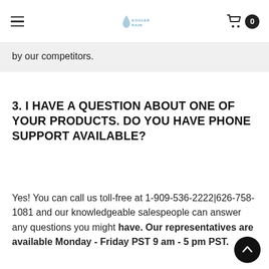Kooleroo Rain [logo with hamburger menu and cart]
by our competitors.
3. I HAVE A QUESTION ABOUT ONE OF YOUR PRODUCTS. DO YOU HAVE PHONE SUPPORT AVAILABLE?
Yes! You can call us toll-free at 1-909-536-2222|626-758-1081 and our knowledgeable salespeople can answer any questions you might have. Our representatives are available Monday - Friday PST 9 am - 5 pm PST.